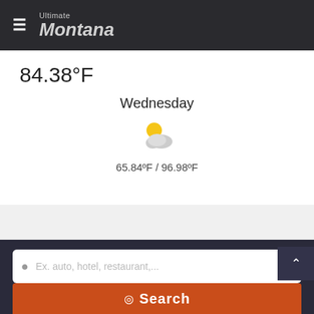Ultimate Montana
84.38°F
Wednesday
[Figure (illustration): Partly cloudy weather icon: yellow sun partially behind a grey cloud]
65.84ºF / 96.98ºF
Ex. auto, hotel, restaurant,...
All categories
All regions
Search